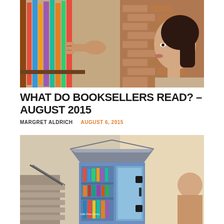[Figure (photo): Woman with dark hair in ponytail closely examining books on a shelf in a bookstore or library, reaching out to pull a colorful book from the shelf. Brick wall and warm-toned background.]
WHAT DO BOOKSELLERS READ? – AUGUST 2015
MARGRET ALDRICH   AUGUST 6, 2015
[Figure (photo): A small blue house-shaped Little Free Library box mounted outdoors, filled with colorful books visible through shelves and a glass-paneled door. Steps and a building visible in the background.]